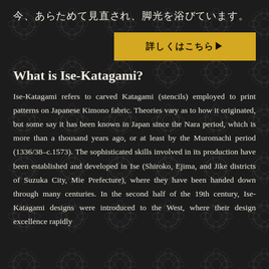今、あらためて見直され、脚光を浴びています。
[Figure (other): Gold button with Japanese text '詳しくはこちら▶' (Learn more here)]
What is Ise-Katagami?
Ise-Katagami refers to carved Katagami (stencils) employed to print patterns on Japanese Kimono fabric. Theories vary as to how it originated, but some say it has been known in Japan since the Nara period, which is more than a thousand years ago, or at least by the Muromachi period (1336/38–c.1573). The sophisticated skills involved in its production have been established and developed in Ise (Shiroko, Ejima, and Jike districts of Suzuka City, Mie Prefecture), where they have been handed down through many centuries. In the second half of the 19th century, Ise-Katagami designs were introduced to the West, where their design excellence rapidly